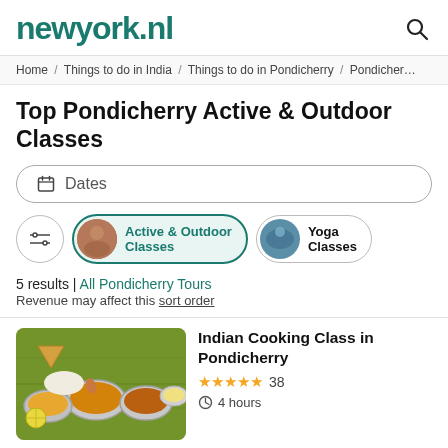newyork.nl
Home / Things to do in India / Things to do in Pondicherry / Pondicherry
Top Pondicherry Active & Outdoor Classes
Dates
Active & Outdoor Classes
Yoga Classes
5 results | All Pondicherry Tours
Revenue may affect this sort order
[Figure (photo): Photo of Indian food served on a banana leaf with metal bowls of curry and condiments]
Indian Cooking Class in Pondicherry
★★★★★ 38
4 hours